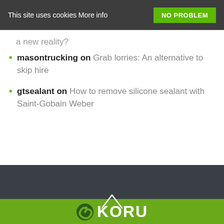This site uses cookies More info | NO PROBLEM
a new reality?
masontrucking on Grab lorries: An alternative to skip hire
gtsealant on How to remove silicone sealant with Saint-Gobain Weber
[Figure (logo): KORU logo with green spiral icon and white KORU text on green background, with an upward pointing chevron arrow above]